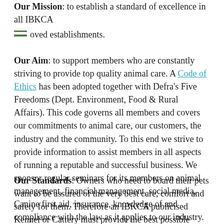Our Mission: to establish a standard of excellence in all IBKCA approved establishments.
Our Aim: to support members who are constantly striving to provide top quality animal care. A Code of Ethics has been adopted together with Defra's Five Freedoms (Dept. Environment, Food & Rural Affairs). This code governs all members and covers our commitments to animal care, our customers, the industry and the community. To this end we strive to provide information to assist members in all aspects of running a reputable and successful business. We sponsor regular seminars for its members on animal management, financial management, social media, Canine first aid, insurance, knowledge of and compliance with the law as it applies to our industry.
Our Standards: Owners who need to board their pets want to be assured of the very best care, comfort and safety for them. Therefore an IBKCA publicised Kennel or Cattery must provide the best possible standard of care. To this effect the IBKCA does not publicly endorse any member until we have visited